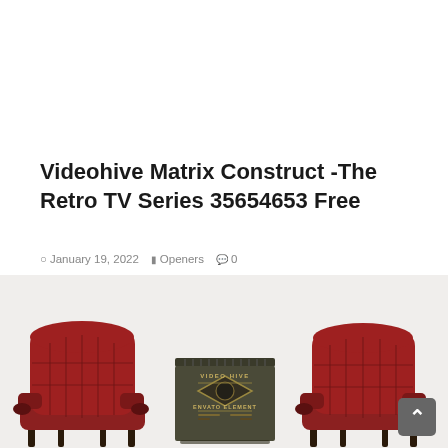Videohive Matrix Construct -The Retro TV Series 35654653 Free
January 19, 2022   Openers   0
[Figure (photo): Two red leather wingback armchairs on either side of a vintage-style dark box/TV unit with 'VIDEO HIVE' and 'ENVATO ELEMENT' branding on it]